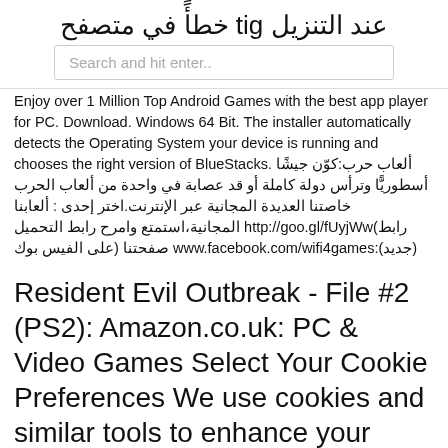عند التنزيل git خطأً في متصفح
[Figure (screenshot): Search bar with placeholder text 'Search and hit enter..']
Enjoy over 1 Million Top Android Games with the best app player for PC. Download. Windows 64 Bit. The installer automatically detects the Operating System your device is running and chooses the right version of BlueStacks. ألعاب حرب:كوّن جيشًا أسطوريًّا وترأس دولة كاملة أو قد عصابة في واحدة من ألعاب الحرب خاصتنا العديدة المجانية عبر الإنترنت.اختر إحدى : ألعابنا المجانية،استمتع وامرح رابط التحميل http://goo.gl/fUyjWw(رابط على الفيس بوك) صفحتنا www.facebook.com/wifi4games:(جديد)
Resident Evil Outbreak - File #2 (PS2): Amazon.co.uk: PC & Video Games Select Your Cookie Preferences We use cookies and similar tools to enhance your shopping experience, to provide